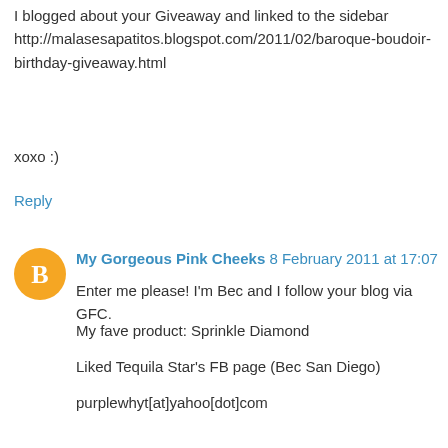I blogged about your Giveaway and linked to the sidebar http://malasesapatitos.blogspot.com/2011/02/baroque-boudoir-birthday-giveaway.html
xoxo :)
Reply
My Gorgeous Pink Cheeks  8 February 2011 at 17:07
Enter me please! I'm Bec and I follow your blog via GFC.
My fave product: Sprinkle Diamond
Liked Tequila Star's FB page (Bec San Diego)
purplewhyt[at]yahoo[dot]com
Reply
Pinkk Candy  10 February 2011 at 01:41
hello from Portugal ^^